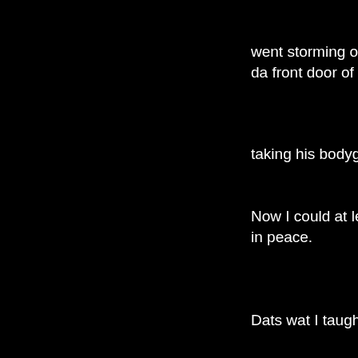went storming out
da front door of da fast
taking his bodyguards w
Now I could at least enj
in peace.
Dats wat I taught
until Attila the Hun
came out of da restroo
and sat down in front of
Maybe because of his b
he kept asking me
ovah and ovah again
why I put so much ketch